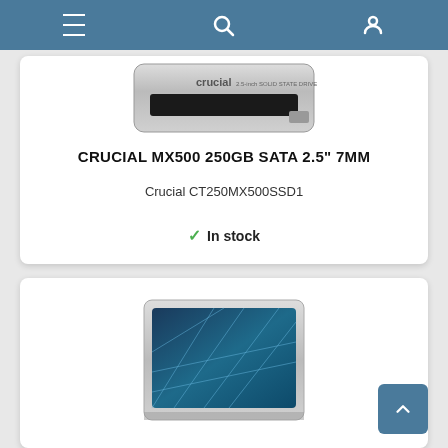Navigation bar with menu, search, and user icons
[Figure (photo): Crucial MX500 250GB SATA 2.5 inch 7MM SSD drive, silver body with black stripe]
CRUCIAL MX500 250GB SATA 2.5" 7MM
Crucial CT250MX500SSD1
In stock
[Figure (photo): Second Crucial SSD product with teal/blue geometric design on face, partially visible]